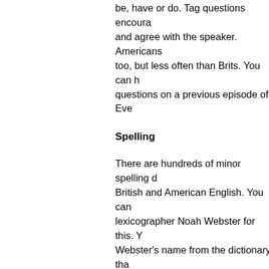be, have or do. Tag questions encourage and agree with the speaker. Americans too, but less often than Brits. You can hear questions on a previous episode of Ev
Spelling
There are hundreds of minor spelling differences between British and American English. You can thank lexicographer Noah Webster for this. You can also take Webster’s name from the dictionary tha
Noah Webster, an author, politician, and made an effort to reform English spelling in the b
He was frustrated by the inconsistencies. Webster wanted to spell words the way they Spelling reform was also a way for Am independence from England.